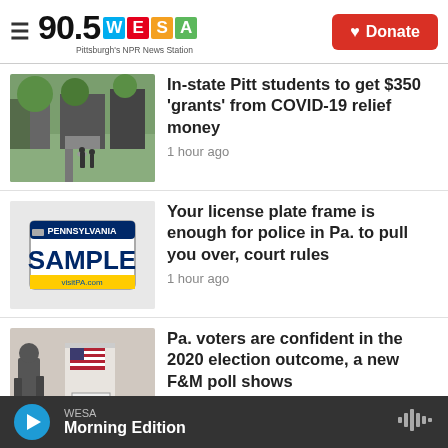90.5 WESA — Pittsburgh's NPR News Station | Donate
[Figure (photo): University campus walkway with students walking, trees and buildings in background]
In-state Pitt students to get $350 'grants' from COVID-19 relief money
1 hour ago
[Figure (photo): Pennsylvania sample license plate reading SAMPLE with visitPA.com]
Your license plate frame is enough for police in Pa. to pull you over, court rules
1 hour ago
[Figure (photo): Voter at polling booth with American flag and VOTE sign]
Pa. voters are confident in the 2020 election outcome, a new F&M poll shows
1 hour ago
WESA Morning Edition